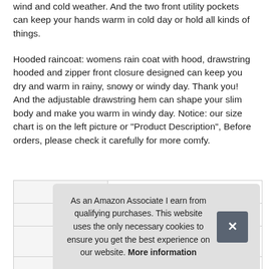wind and cold weather. And the two front utility pockets can keep your hands warm in cold day or hold all kinds of things.
Hooded raincoat: womens rain coat with hood, drawstring hooded and zipper front closure designed can keep you dry and warm in rainy, snowy or windy day. Thank you! And the adjustable drawstring hem can shape your slim body and make you warm in windy day. Notice: our size chart is on the left picture or "Product Description", Before orders, please check it carefully for more comfy.
|  |  |
| --- | --- |
| Brand | SoTeer #ad |
| Height | 0.79 Inches |
As an Amazon Associate I earn from qualifying purchases. This website uses the only necessary cookies to ensure you get the best experience on our website. More information